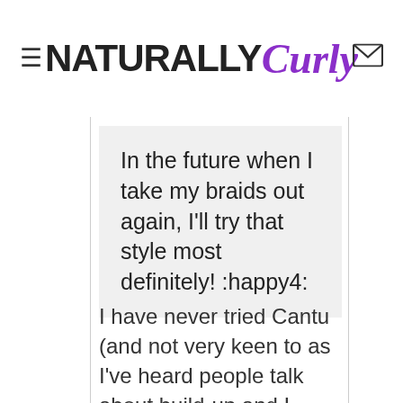NATURALLY Curly
In the future when I take my braids out again, I'll try that style most definitely! :happy4:
I have never tried Cantu (and not very keen to as I've heard people talk about build-up and I rarely shampoo), but I don't know how I feel about Organics Root Stimulator products. I've been natural for years but only found this site and changed my products last year. But for ages before this I used almost the